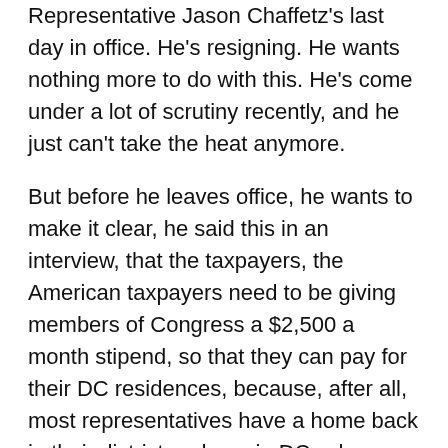Representative Jason Chaffetz's last day in office. He's resigning. He wants nothing more to do with this. He's come under a lot of scrutiny recently, and he just can't take the heat anymore.
But before he leaves office, he wants to make it clear, he said this in an interview, that the taxpayers, the American taxpayers need to be giving members of Congress a $2,500 a month stipend, so that they can pay for their DC residences, because, after all, most representatives have a home back in their district and one in DC, where they spend about half their time, so they have to split the time. They have to get two houses, and, yeah, that can be expensive.
But here's the thing, Mr. Chaffetz. You make a